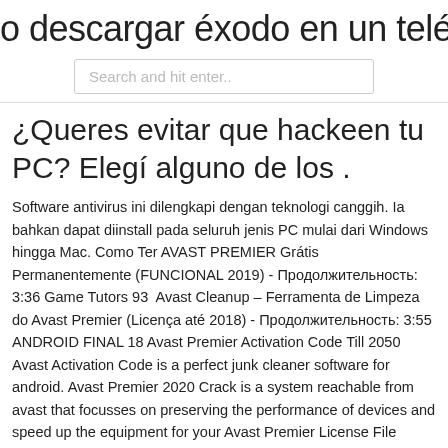o descargar éxodo en un teléfono an
[Figure (screenshot): Search bar with placeholder text 'Search and hit enter..']
¿Queres evitar que hackeen tu PC? Elegí alguno de los .
Software antivirus ini dilengkapi dengan teknologi canggih. Ia bahkan dapat diinstall pada seluruh jenis PC mulai dari Windows hingga Mac. Como Ter AVAST PREMIER Grátis Permanentemente (FUNCIONAL 2019) - Продолжительность: 3:36 Game Tutors 93  Avast Cleanup – Ferramenta de Limpeza do Avast Premier (Licença até 2018) - Продолжительность: 3:55 ANDROID FINAL 18 Avast Premier Activation Code Till 2050 Avast Activation Code is a perfect junk cleaner software for android. Avast Premier 2020 Crack is a system reachable from avast that focusses on preserving the performance of devices and speed up the equipment for your Avast Premier License File [100% Working]. Avast Premier Activation Code is a complete tool that has three essential features that the later versions keep improving on to allow their users to have a better experience.